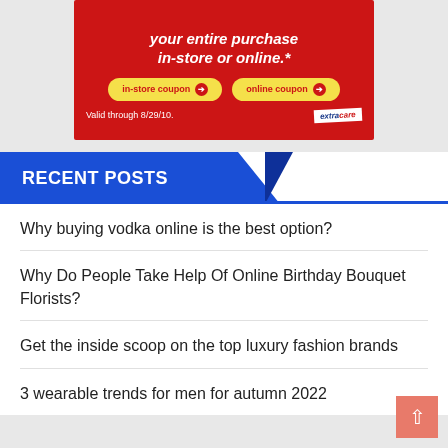[Figure (other): CVS ExtraCare promotional advertisement on red background with 'your entire purchase in-store or online.' text, two yellow oval coupon buttons labeled 'in-store coupon' and 'online coupon' with red arrow icons, and 'Valid through 8/29/10.' text with ExtraCare logo]
RECENT POSTS
Why buying vodka online is the best option?
Why Do People Take Help Of Online Birthday Bouquet Florists?
Get the inside scoop on the top luxury fashion brands
3 wearable trends for men for autumn 2022